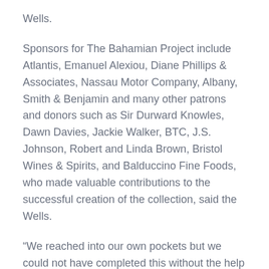Wells.
Sponsors for The Bahamian Project include Atlantis, Emanuel Alexiou, Diane Phillips & Associates, Nassau Motor Company, Albany, Smith & Benjamin and many other patrons and donors such as Sir Durward Knowles, Dawn Davies, Jackie Walker, BTC, J.S. Johnson, Robert and Linda Brown, Bristol Wines & Spirits, and Balduccino Fine Foods, who made valuable contributions to the successful creation of the collection, said the Wells.
“We reached into our own pockets but we could not have completed this without the help of so many who saw and shared the vision.”
The project also included a Kids Photography Workshop, another facet that will be continued and expanded upon in next year.